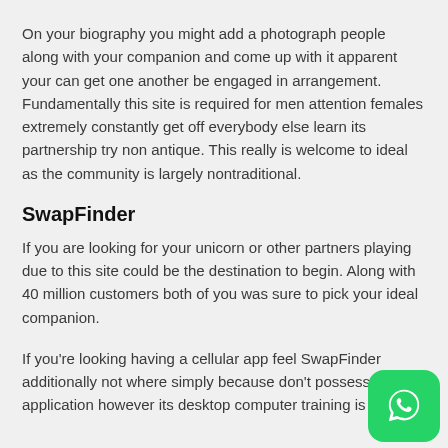On your biography you might add a photograph people along with your companion and come up with it apparent your can get one another be engaged in arrangement. Fundamentally this site is required for men attention females extremely constantly get off everybody else learn its partnership try non antique. This really is welcome to ideal as the community is largely nontraditional.
SwapFinder
If you are looking for your unicorn or other partners playing due to this site could be the destination to begin. Along with 40 million customers both of you was sure to pick your ideal companion.
If you're looking having a cellular app feel SwapFinder additionally not where simply because don't possess loan application however its desktop computer training is